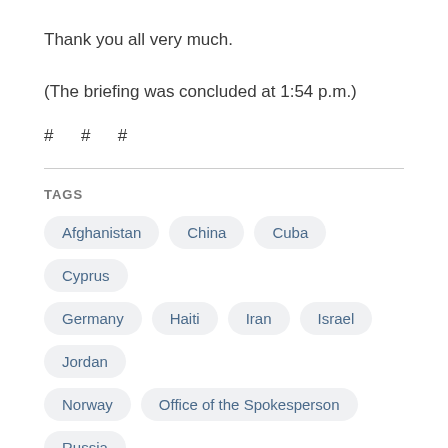Thank you all very much.
(The briefing was concluded at 1:54 p.m.)
# # #
TAGS
Afghanistan
China
Cuba
Cyprus
Germany
Haiti
Iran
Israel
Jordan
Norway
Office of the Spokesperson
Russia
Tanzania
Turkey